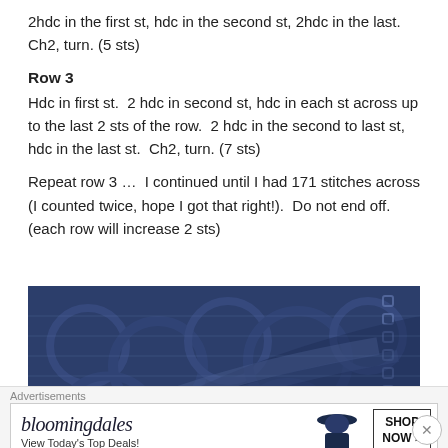2hdc in the first st, hdc in the second st, 2hdc in the last.  Ch2, turn. (5 sts)
Row 3
Hdc in first st.  2 hdc in second st, hdc in each st across up to the last 2 sts of the row.  2 hdc in the second to last st, hdc in the last st.  Ch2, turn. (7 sts)
Repeat row 3 ...  I continued until I had 171 stitches across (I counted twice, hope I got that right!).  Do not end off. (each row will increase 2 sts)
[Figure (photo): Close-up photograph of dark navy blue crochet fabric showing stitch pattern and lacy edging detail.]
Advertisements
[Figure (other): Bloomingdale's advertisement banner with logo, 'View Today's Top Deals!' text, woman in hat, and 'SHOP NOW >' button.]